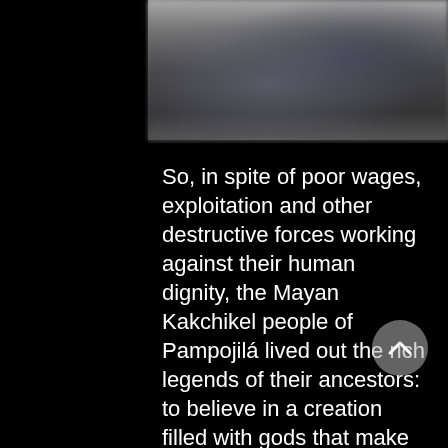[Figure (photo): Blurred photograph of people, dark and out of focus, positioned at top of content area]
So, in spite of poor wages, exploitation and other destructive forces working against their human dignity, the Mayan Kakchikel people of Pampojilá lived out the rich legends of their ancestors: to believe in a creation filled with gods that make life good for all; and to believe that mother earth is sacred and gives life by nourishing their planted seeds and crops. Today, Mayan ceremonies continue to be a source of blessings and invite everyone to turn to our creator in gratitude for its